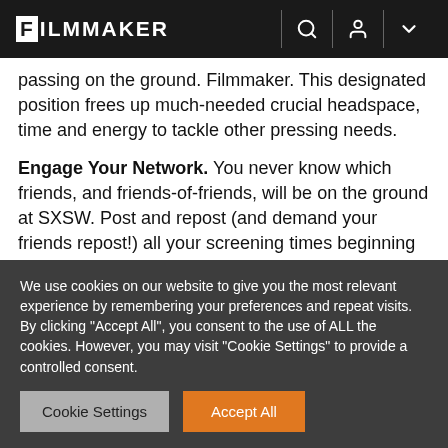FILMMAKER
passing on the ground. Filmmaker. This designated position frees up much-needed crucial headspace, time and energy to tackle other pressing needs.
Engage Your Network. You never know which friends, and friends-of-friends, will be on the ground at SXSW. Post and repost (and demand your friends repost!) all your screening times beginning the moment the schedule is set, up to the very day of the screenings.
We use cookies on our website to give you the most relevant experience by remembering your preferences and repeat visits. By clicking "Accept All", you consent to the use of ALL the cookies. However, you may visit "Cookie Settings" to provide a controlled consent.